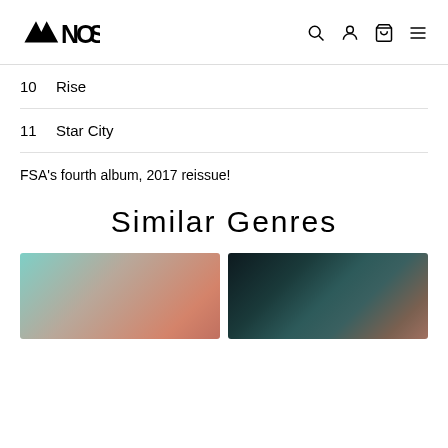MOST (logo) with navigation icons: search, user, cart, menu
10   Rise
11   Star City
FSA's fourth album, 2017 reissue!
Similar Genres
[Figure (illustration): Two gradient genre artwork images side by side — left has teal/orange gradient, right has dark teal/brown gradient]